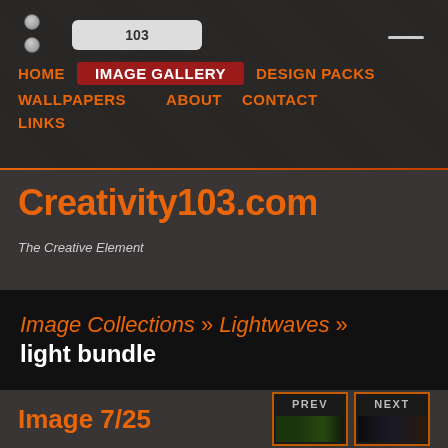[Figure (screenshot): Browser chrome with address bar showing '103' and navigation dots]
HOME  IMAGE GALLERY  DESIGN PACKS  WALLPAPERS  ABOUT  CONTACT  LINKS
Creativity103.com
The Creative Element
Image Collections » Lightwaves » light bundle
Image 7/25
[Figure (screenshot): PREV navigation button with green laser thumbnail]
[Figure (screenshot): NEXT navigation button with dark thumbnail]